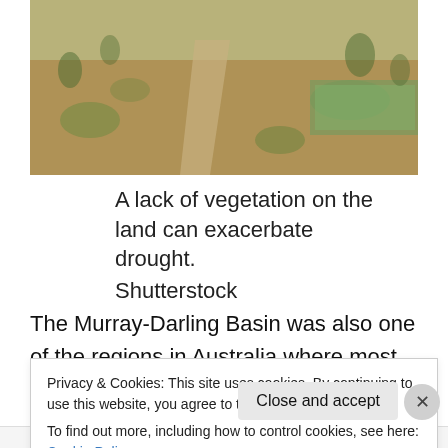[Figure (photo): Aerial or elevated view of dry arid landscape with a dirt road and sparse vegetation, with a water channel or pond visible on the right side.]
A lack of vegetation on the land can exacerbate drought.
Shutterstock
The Murray-Darling Basin was also one of the regions in Australia where most “rainfall recycling” happens. This is when, following rainfall, high levels of evaporation from soils and plants return to the atmosphere, sometimes
Privacy & Cookies: This site uses cookies. By continuing to use this website, you agree to their use.
To find out more, including how to control cookies, see here: Cookie Policy
Close and accept
Advertisements